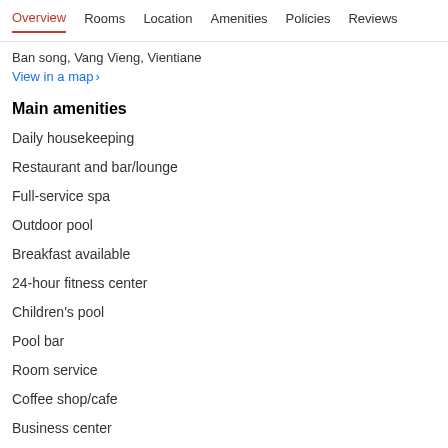Overview  Rooms  Location  Amenities  Policies  Reviews
Ban song, Vang Vieng, Vientiane
View in a map  >
Main amenities
Daily housekeeping
Restaurant and bar/lounge
Full-service spa
Outdoor pool
Breakfast available
24-hour fitness center
Children's pool
Pool bar
Room service
Coffee shop/cafe
Business center
Terrace